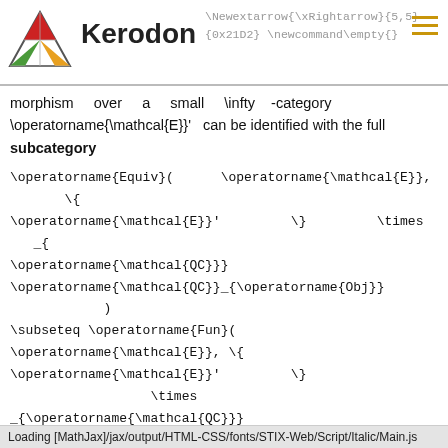Kerodon | \Newextarrow{\xRightarrow}{5,5} {0x21D2} \newcommand\empty{}
morphism over a small \infty -category \operatorname{\mathcal{E}}' can be identified with the full subcategory
spanned by the equivalences of \infty -categories \operatorname{\mathcal{E}}\rightarrow \{ \operatorname{\mathcal{E}}' \} \times _{\operatorname{\mathcal{QC}}} \operatorname{\mathcal{QC}}_{\operatorname{Obj}}
Loading [MathJax]/jax/output/HTML-CSS/fonts/STIX-Web/Script/Italic/Main.js